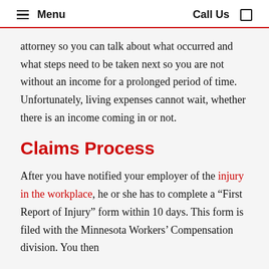Menu   Call Us
attorney so you can talk about what occurred and what steps need to be taken next so you are not without an income for a prolonged period of time. Unfortunately, living expenses cannot wait, whether there is an income coming in or not.
Claims Process
After you have notified your employer of the injury in the workplace, he or she has to complete a “First Report of Injury” form within 10 days. This form is filed with the Minnesota Workers’ Compensation division. You then